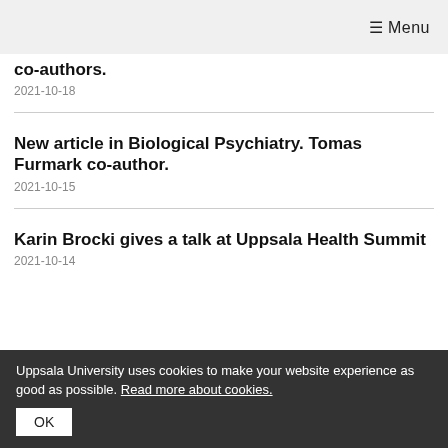≡ Menu
co-authors.
2021-10-18
New article in Biological Psychiatry. Tomas Furmark co-author.
2021-10-15
Karin Brocki gives a talk at Uppsala Health Summit
2021-10-14
Uppsala University uses cookies to make your website experience as good as possible. Read more about cookies. OK